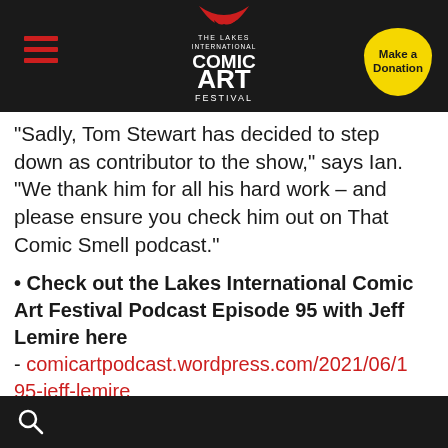The Lakes International Comic Art Festival
“Sadly, Tom Stewart has decided to step down as contributor to the show,” says Ian. “We thank him for all his hard work – and please ensure you check him out on That Comic Smell podcast.”
Check out the Lakes International Comic Art Festival Podcast Episode 95 with Jeff Lemire here - comicartpodcast.wordpress.com/2021/06/1... 95-jeff-lemire
Download on Spreaker | iTunes | Stitcher | Spotify | iHeartRadio